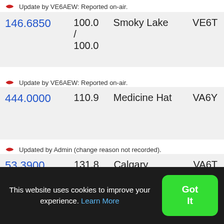Update by VE6AEW: Reported on-air.
| Frequency | Tone | Location | Callsign |
| --- | --- | --- | --- |
| 146.6850 | 100.0 / 100.0 | Smoky Lake | VE6T... |
Update by VE6AEW: Reported on-air.
| Frequency | Tone | Location | Callsign |
| --- | --- | --- | --- |
| 444.0000 | 110.9 | Medicine Hat | VA6Y... |
Updated by Admin (change reason not recorded).
| Frequency | Tone | Location | Callsign |
| --- | --- | --- | --- |
| 53.3900 | 131.8 / 131.8 | Calgary | VA6T... |
Updated by Admin (change reason not recorded).
This website uses cookies to improve your experience. Learn More